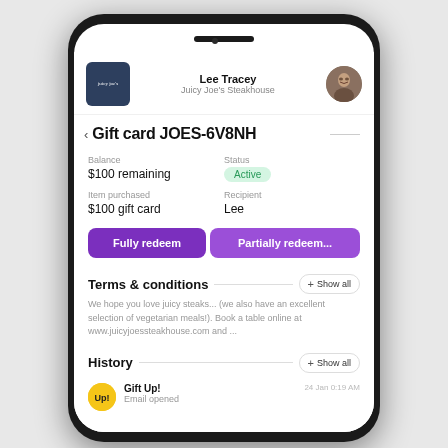[Figure (screenshot): Mobile app screen showing a gift card detail page for JOES-6V8NH at Juicy Joe's Steakhouse. Shows $100 remaining balance, Active status, item purchased $100 gift card, recipient Lee, two action buttons (Fully redeem, Partially redeem), Terms & conditions section, and History section showing Gift Up! Email opened on 24 Jan 0:19 AM.]
Lee Tracey
Juicy Joe's Steakhouse
Gift card JOES-6V8NH
Balance
$100 remaining
Status
Active
Item purchased
$100 gift card
Recipient
Lee
Fully redeem
Partially redeem...
Terms & conditions
We hope you love juicy steaks... (we also have an excellent selection of vegetarian meals!). Book a table online at www.juicyjoessteakhouse.com and ...
History
Gift Up!
Email opened
24 Jan 0:19 AM